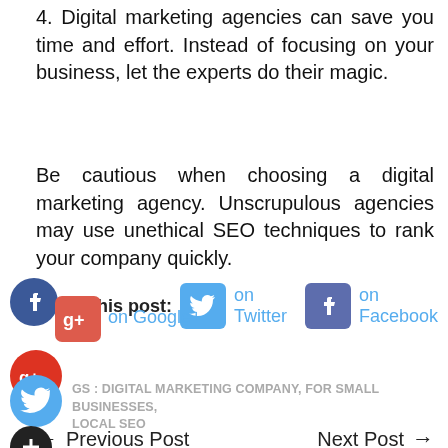4. Digital marketing agencies can save you time and effort. Instead of focusing on your business, let the experts do their magic.
Be cautious when choosing a digital marketing agency. Unscrupulous agencies may use unethical SEO techniques to rank your company quickly.
Share this post:   on Twitter   on Facebook   on Google+
TAGS : DIGITAL MARKETING COMPANY, FOR SMALL BUSINESSES, LOCAL SEO
← Previous Post
Next Post →